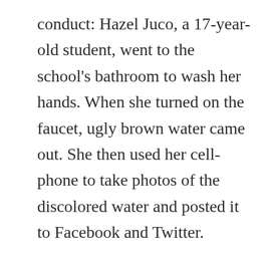conduct: Hazel Juco, a 17-year-old student, went to the school's bathroom to wash her hands. When she turned on the faucet, ugly brown water came out. She then used her cell-phone to take photos of the discolored water and posted it to Facebook and Twitter.

She was suspended, but eventually social media and the local news vindicated her. The water was polluted, and the school